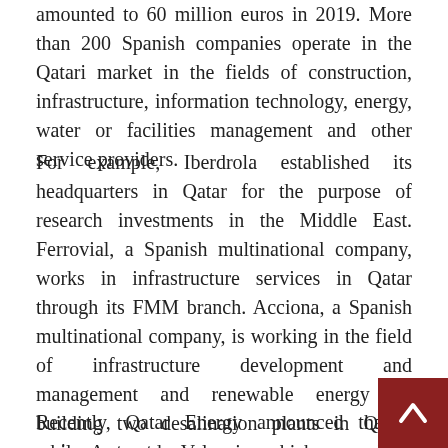amounted to 60 million euros in 2019. More than 200 Spanish companies operate in the Qatari market in the fields of construction, infrastructure, information technology, energy, water or facilities management and other service providers.
For example, Iberdrola established its headquarters in Qatar for the purpose of research investments in the Middle East. Ferrovial, a Spanish multinational company, works in infrastructure services in Qatar through its FMM branch. Acciona, a Spanish multinational company, is working in the field of infrastructure development and management and renewable energy by building two desalination plants in Qatar, while Aguas de Valencia, which opened its branch in Doha in 2015, participates in many projects related to water management.
Recently, Qatar Energy announced that a major contract